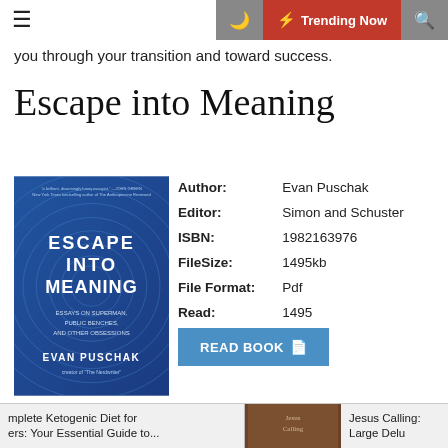☰  🌙  ⚡ Trending Now  🔍
you through your transition and toward success.
Escape into Meaning
[Figure (illustration): Book cover of 'Escape into Meaning: Essays on Superman, Public Benches, and Other Obsessions' by Evan Puschak, blue cover with wave pattern]
| Author: | Evan Puschak |
| Editor: | Simon and Schuster |
| ISBN: | 1982163976 |
| FileSize: | 1495kb |
| File Format: | Pdf |
| Read: | 1495 |
READ BOOK
Escape into Meaning by Evan
mplete Ketogenic Diet for
ers: Your Essential Guide to...
Jesus Calling: Large Delu